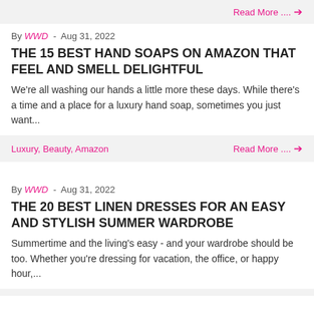Read More ....  →
By WWD - Aug 31, 2022
THE 15 BEST HAND SOAPS ON AMAZON THAT FEEL AND SMELL DELIGHTFUL
We're all washing our hands a little more these days. While there's a time and a place for a luxury hand soap, sometimes you just want...
Luxury, Beauty, Amazon   Read More ....  →
By WWD - Aug 31, 2022
THE 20 BEST LINEN DRESSES FOR AN EASY AND STYLISH SUMMER WARDROBE
Summertime and the living's easy - and your wardrobe should be too. Whether you're dressing for vacation, the office, or happy hour,...